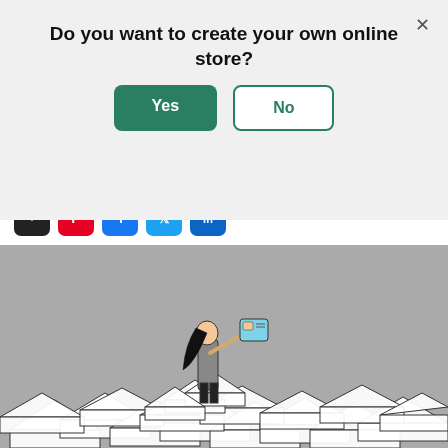Do you want to create your own online store?
Yes | No
by Michael Keenan · Brand
May 5, 2022 · 18 minute read · Leave a comment
[Figure (illustration): Social share icons: email (black), Pinterest (red), Facebook (blue), Twitter (light blue), LinkedIn (dark blue)]
[Figure (illustration): Illustration of a person with long black hair standing on a large pile of envelopes/letters, holding up a card or phone, on a gray background]